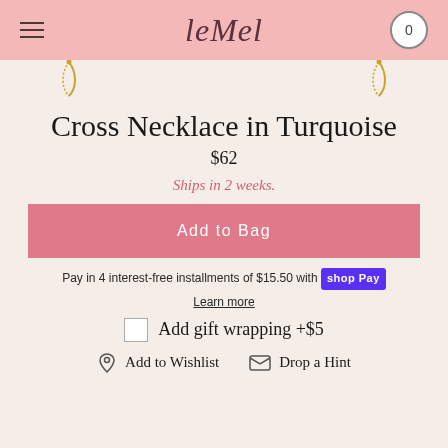leMel
[Figure (illustration): Necklace chain ornament banner with gold chain clasps on pink background]
Cross Necklace in Turquoise
$62
Ships in 2 weeks.
Add to Bag
Pay in 4 interest-free installments of $15.50 with shop Pay
Learn more
Add gift wrapping +$5
Add to Wishlist    Drop a Hint